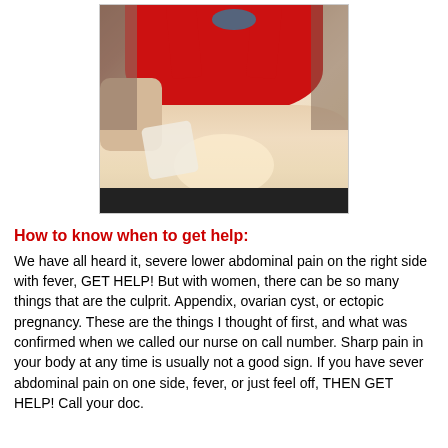[Figure (photo): A woman wearing a red sports bra/top lifting it to show her abdomen, with visible swelling or distension on the lower right side of her stomach.]
How to know when to get help:
We have all heard it, severe lower abdominal pain on the right side with fever, GET HELP! But with women, there can be so many things that are the culprit. Appendix, ovarian cyst, or ectopic pregnancy. These are the things I thought of first, and what was confirmed when we called our nurse on call number. Sharp pain in your body at any time is usually not a good sign. If you have sever abdominal pain on one side, fever, or just feel off, THEN GET HELP! Call your doc.